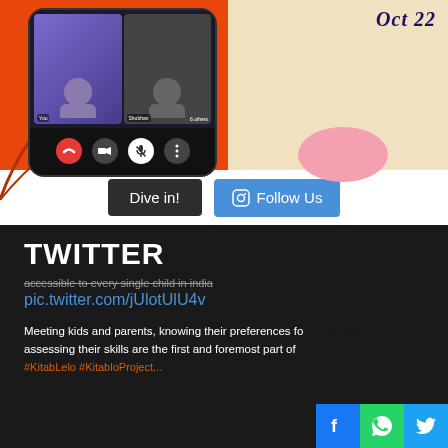[Figure (screenshot): Screenshot of a video call app on a smartphone showing two participants (You and Shubhan) with 6 others, with call controls including red end call button, video, mute, and more options. The background has orange and cream/speckled design with decorative script text reading 'Oct 22' and a pink blob shape.]
Dive in!
Follow Us
TWITTER
accessible to every single child in india
pic.twitter.com/jUlotUlU4v
Meeting kids and parents, knowing their preferences for books and assessing their skills are the first and foremost part of our journey. #KitabLelo #KitabLoProject...